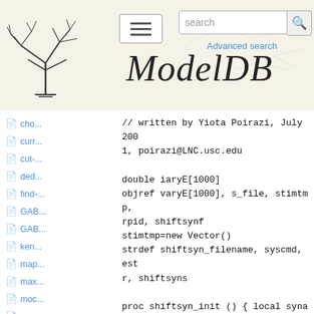ModelDB — search interface header with logo, menu, search box, and Advanced search link
cho...
curr...
cut-...
ded...
find-...
GAB...
GAB...
ken...
map...
max...
moc...
new...
new...
num...
sall...
// written by Yiota Poirazi, July 2001, poirazi@LNC.usc.edu

double iaryE[1000]
objref varyE[1000], s_file, stimtmp, rpid, shiftsynf
stimtmp=new Vector()
strdef shiftsyn_filename, syscmd, estr, shiftsyns

proc shiftsyn_init () { local synapses, temporal_offset, hertz, gmax_default, PID, lo, hi
    total_synapses = $1        // number of synapses in the band
    tstop = $2                 // stimulation end time
    dt = $3
    hertz = $4                 // stimulation train frequency